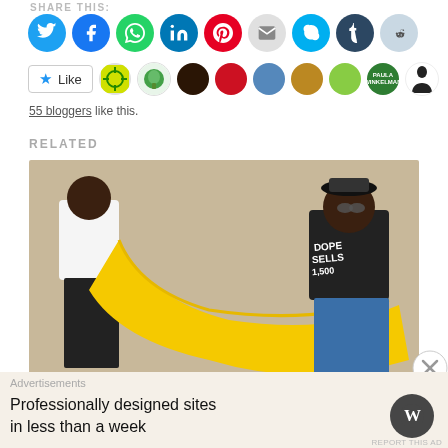SHARE THIS:
[Figure (screenshot): Social sharing icons row: Twitter (blue), Facebook (blue), WhatsApp (green), LinkedIn (blue), Pinterest (red), Email (grey), Skype (light blue), Tumblr (dark blue), Reddit (light blue)]
[Figure (screenshot): Like button with star icon and a strip of blogger avatar profile pictures]
55 bloggers like this.
RELATED
[Figure (photo): Two people holding a large yellow fabric/cloth between them against a beige wall. The person on the right wears a black t-shirt reading 'DOPE SELLS' and jeans.]
Advertisements
Professionally designed sites in less than a week